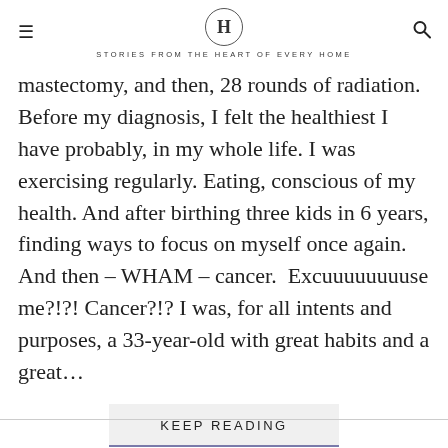H — STORIES FROM THE HEART OF EVERY HOME
mastectomy, and then, 28 rounds of radiation. Before my diagnosis, I felt the healthiest I have probably, in my whole life. I was exercising regularly. Eating, conscious of my health. And after birthing three kids in 6 years, finding ways to focus on myself once again. And then – WHAM – cancer. Excuuuuuuuuse me?!?! Cancer?!? I was, for all intents and purposes, a 33-year-old with great habits and a great…
KEEP READING